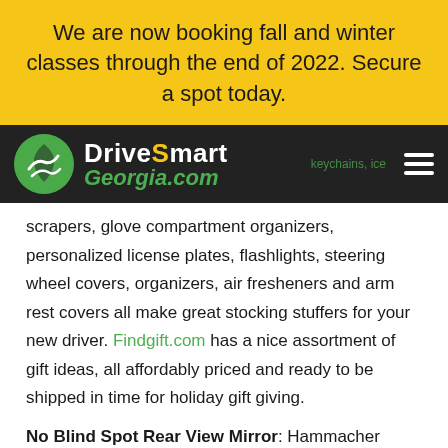We are now booking fall and winter classes through the end of 2022. Secure a spot today.
[Figure (logo): DriveSmart Georgia.com logo with green circle icon and hamburger menu on dark background]
scrapers, glove compartment organizers, personalized license plates, flashlights, steering wheel covers, organizers, air fresheners and arm rest covers all make great stocking stuffers for your new driver. Findgift.com has a nice assortment of gift ideas, all affordably priced and ready to be shipped in time for holiday gift giving.
No Blind Spot Rear View Mirror: Hammacher Schlemmer sells a patented, seamless mirror that has a 180° field of view (standard mirrors offer only 52°) and